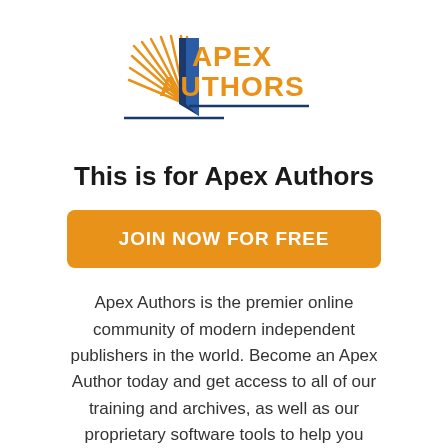[Figure (logo): Apex Authors logo: stylized open book with radiating pages on the left and a dark blue chevron/bookmark shape, with 'APEX AUTHORS' in bold orange text to the right, and a dark blue horizontal line beneath]
This is for Apex Authors
JOIN NOW FOR FREE
Apex Authors is the premier online community of modern independent publishers in the world. Become an Apex Author today and get access to all of our training and archives, as well as our proprietary software tools to help you